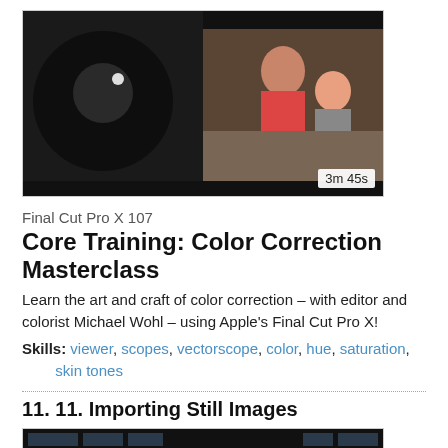[Figure (screenshot): Video thumbnail showing Final Cut Pro X color correction interface with dark left panel and video footage on right, duration badge '3m 45s']
Final Cut Pro X 107
Core Training: Color Correction Masterclass
Learn the art and craft of color correction – with editor and colorist Michael Wohl – using Apple's Final Cut Pro X!
Skills: viewer, scopes, vectorscope, color, hue, saturation, skin tones
11. 11. Importing Still Images
[Figure (screenshot): Video thumbnail showing Final Cut Pro X timeline/editing interface with a person silhouette, duration badge '3m 15s']
Final Cut Pro X 106
Core Training: Graphics, Titles, Transitions